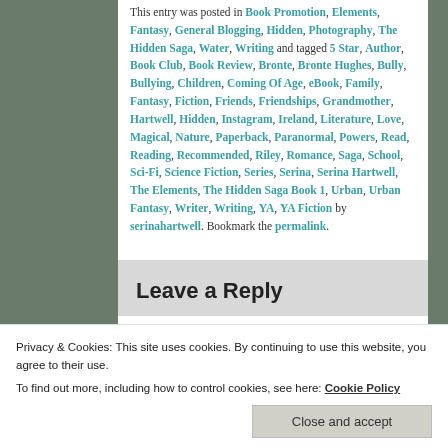This entry was posted in Book Promotion, Elements, Fantasy, General Blogging, Hidden, Photography, The Hidden Saga, Water, Writing and tagged 5 Star, Author, Book Club, Book Review, Bronte, Bronte Hughes, Bully, Bullying, Children, Coming Of Age, eBook, Family, Fantasy, Fiction, Friends, Friendships, Grandmother, Hartwell, Hidden, Instagram, Ireland, Literature, Love, Magical, Nature, Paperback, Paranormal, Powers, Read, Reading, Recommended, Riley, Romance, Saga, School, Sci-Fi, Science Fiction, Series, Serina, Serina Hartwell, The Elements, The Hidden Saga Book 1, Urban, Urban Fantasy, Writer, Writing, YA, YA Fiction by serinahartwell. Bookmark the permalink.
Leave a Reply
Privacy & Cookies: This site uses cookies. By continuing to use this website, you agree to their use. To find out more, including how to control cookies, see here: Cookie Policy